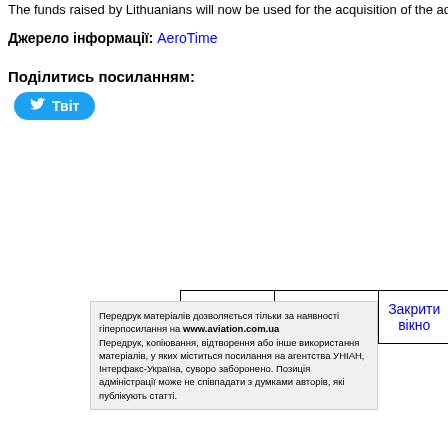The funds raised by Lithuanians will now be used for the acquisition of the additional
Джерело інформації: AeroTime
Поділитись посиланням:
Твіт
| Обговорити у форумі | Роздрукувати статтю | Закрити вікно |
Передрук матеріалів дозволяється тільки за наявності гіперпосилання на www.aviation.com.ua
Передрук, копіювання, відтворення або інше використання матеріалів, у яких міститься посилання на агентства УНІАН, Інтерфакс-Україна, суворо заборонено. Позиція адміністрації може не співпадати з думками авторів, які публікують статті.